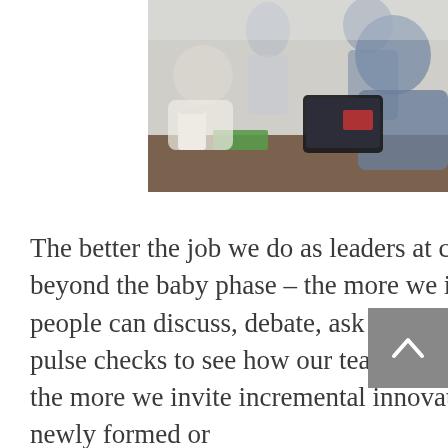[Figure (photo): Business meeting scene: people sitting around a table, one person holding a tablet device, a coffee cup visible, blurred background with standing figures.]
The better the job we do as leaders at continuing to nurture that change beyond the baby phase – the more we invest in creating forums in which people can discuss, debate, ask questions and share ideas; the more we do pulse checks to see how our teams are faring during – not after the change; the more we invite incremental innovation, and create connectivity across newly formed or